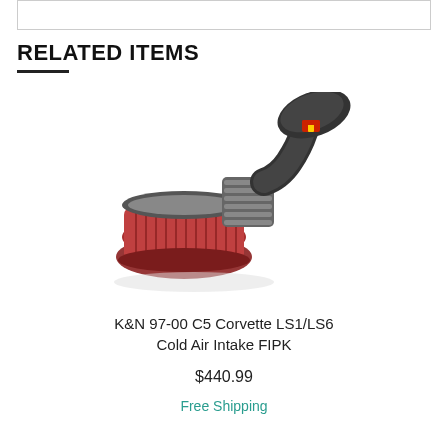RELATED ITEMS
[Figure (photo): K&N cold air intake FIPK product photo showing a large red conical air filter attached to a metallic ribbed intake tube with a black rubber elbow and K&N branded heat shield]
K&N 97-00 C5 Corvette LS1/LS6 Cold Air Intake FIPK
$440.99
Free Shipping